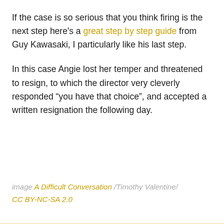If the case is so serious that you think firing is the next step here's a great step by step guide from Guy Kawasaki, I particularly like his last step.
In this case Angie lost her temper and threatened to resign, to which the director very cleverly responded “you have that choice”, and accepted a written resignation the following day.
image A Difficult Conversation /Timothy Valentine/ CC BY-NC-SA 2.0